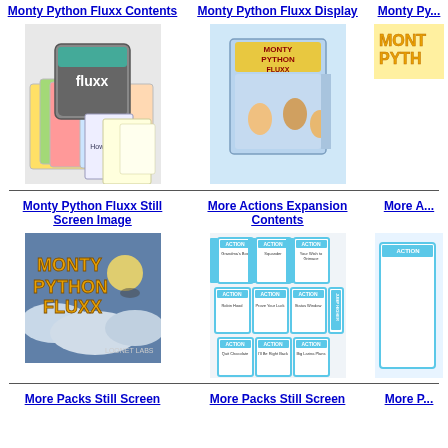Monty Python Fluxx Contents
Monty Python Fluxx Display
Monty Py...
[Figure (photo): Monty Python Fluxx card game contents spread out showing cards and box]
[Figure (photo): Monty Python Fluxx display box retail packaging]
[Figure (photo): Monty Python logo partial view]
Monty Python Fluxx Still Screen Image
More Actions Expansion Contents
More A...
[Figure (photo): Monty Python Fluxx still screen image showing logo on cloudy sky background with Looney Labs branding]
[Figure (photo): More Actions Expansion contents showing action cards spread out]
[Figure (photo): More Actions partial view]
More Packs Still Screen
More Packs Still Screen
More P...